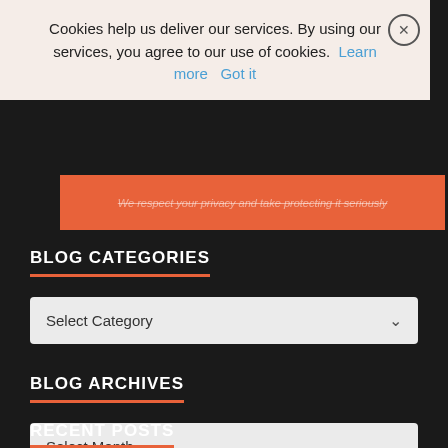Cookies help us deliver our services. By using our services, you agree to our use of cookies. Learn more Got it
We respect your privacy and take protecting it seriously
BLOG CATEGORIES
Select Category
BLOG ARCHIVES
Select Month
RECENT POSTS